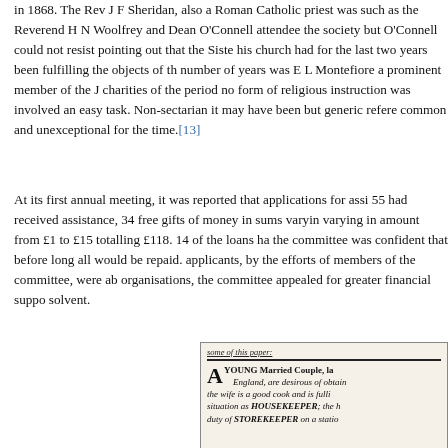in 1868. The Rev J F Sheridan, also a Roman Catholic priest was such as the Reverend H N Woolfrey and Dean O'Connell attended the society but O'Connell could not resist pointing out that the Sister his church had for the last two years been fulfilling the objects of the number of years was E L Montefiore a prominent member of the J charities of the period no form of religious instruction was involved an easy task. Non-sectarian it may have been but generic reference common and unexceptional for the time.[13]
At its first annual meeting, it was reported that applications for assistance 55 had received assistance, 34 free gifts of money in sums varying varying in amount from £1 to £15 totalling £118. 14 of the loans had the committee was confident that before long all would be repaid. applicants, by the efforts of members of the committee, were able organisations, the committee appealed for greater financial support solvent.
[Figure (photo): A cropped newspaper clipping showing an advertisement. The text reads: 'A YOUNG Married Couple, la England, are desirous of obtain the wife is a good cook and is full situation as HOUSEKEEPER; the h duty of STOREKEEPER on a station']